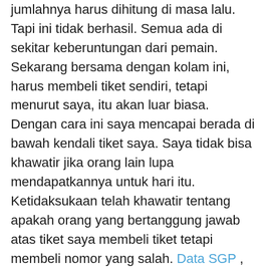jumlahnya harus dihitung di masa lalu. Tapi ini tidak berhasil. Semua ada di sekitar keberuntungan dari pemain.
Sekarang bersama dengan kolam ini, harus membeli tiket sendiri, tetapi menurut saya, itu akan luar biasa. Dengan cara ini saya mencapai berada di bawah kendali tiket saya. Saya tidak bisa khawatir jika orang lain lupa mendapatkannya untuk hari itu. Ketidaksukaan telah khawatir tentang apakah orang yang bertanggung jawab atas tiket saya membeli tiket tetapi membeli nomor yang salah. Data SGP , saya benar-benar ingin bertanggung jawab atas takdir saya sendiri sebanyak mungkin. Saya harus mengurus angka-angka yang saya pilih serta menemukan diri Anda mengendalikan pembelian sendiri.
Pernahkah Anda memilih angka keberuntungan yang disarankan oleh horoskop, ulang tahun dan lain-lain